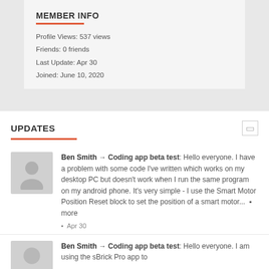MEMBER INFO
Profile Views: 537 views
Friends: 0 friends
Last Update: Apr 30
Joined: June 10, 2020
UPDATES
Ben Smith → Coding app beta test: Hello everyone. I have a problem with some code I've written which works on my desktop PC but doesn't work when I run the same program on my android phone. It's very simple - I use the Smart Motor Position Reset block to set the position of a smart motor...  more
Apr 30
Ben Smith → Coding app beta test: Hello everyone. I am using the sBrick Pro app to